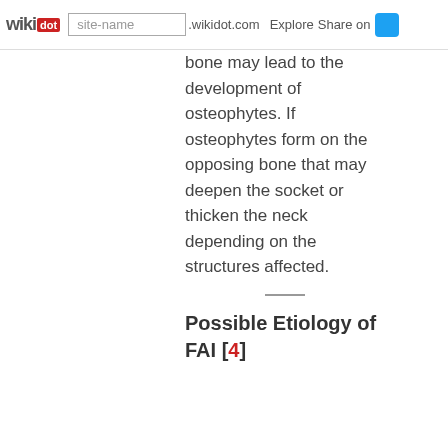wikidot | site-name .wikidot.com | Explore | Share on
bone may lead to the development of osteophytes. If osteophytes form on the opposing bone that may deepen the socket or thicken the neck depending on the structures affected.
Possible Etiology of FAI [4]